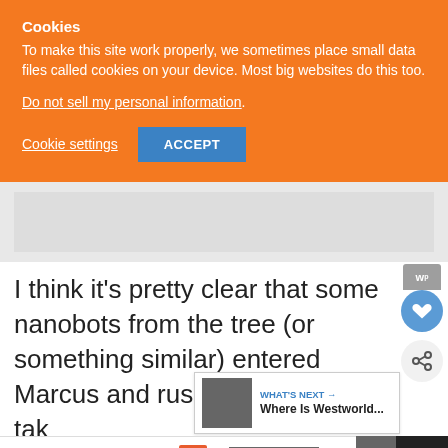Cookies
To make this site work properly, we sometimes place small data files called cookies on your device. Most big websites do this too.
Do not sell my personal information.
Cookie settings   ACCEPT
I think it’s pretty clear that some nanobots from the tree (or something similar) entered Marcus and rushed to his head, tak over after he died. Perhaps the relic face
WHAT’S NEXT → Where Is Westworld...
You can help hungry kids.   LEARN HOW